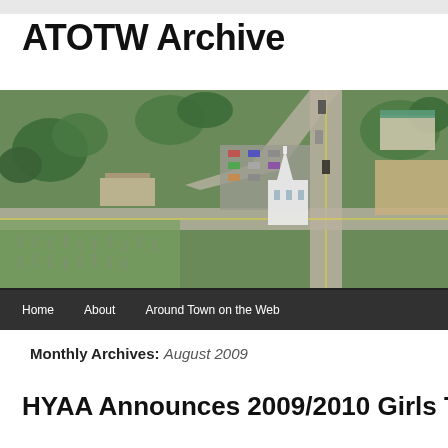ATOTW Archive
[Figure (photo): Aerial photograph of a New England town center with a white church, parking lots, cemetery, and tree-lined streets, taken in spring. Navigation bar below with links: Home, About, Around Town on the Web.]
Monthly Archives: August 2009
HYAA Announces 2009/2010 Girls Travel